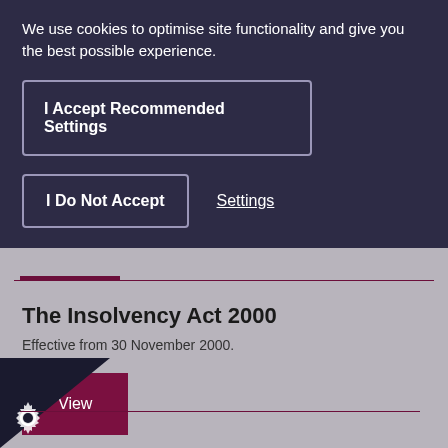We use cookies to optimise site functionality and give you the best possible experience.
I Accept Recommended Settings
I Do Not Accept
Settings
The Insolvency Act 2000
Effective from 30 November 2000.
View